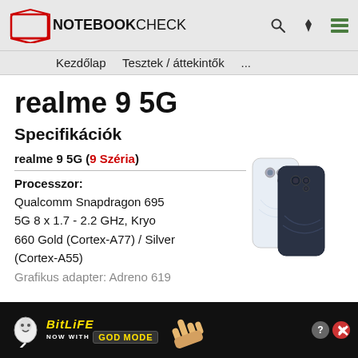NOTEBOOKCHECK — Kezdőlap  Tesztek / áttekintők  ...
realme 9 5G
Specifikációk
realme 9 5G (9 Széria)
[Figure (photo): Two realme 9 5G smartphones, one white/silver and one dark blue/black, shown from the back]
Processzor:
Qualcomm Snapdragon 695 5G 8 x 1.7 - 2.2 GHz, Kryo 660 Gold (Cortex-A77) / Silver (Cortex-A55)
Grafikus adapter: Adreno 619...